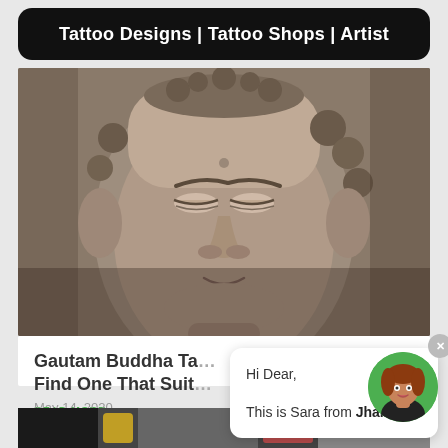Tattoo Designs | Tattoo Shops | Artist
[Figure (photo): Close-up photograph of a Gautam Buddha face tattoo in black and grey realism style, showing detailed shading of the Buddha's serene expression, eyes, nose, and decorative head elements]
Gautam Buddha Ta... Find One That Suit...
READ MORE »
Hi Dear,

This is Sara from JhaiHo!
May 14, 2020
[Figure (photo): Partial view of another tattoo-related image at the bottom of the page, showing tools or tattoo artwork in progress]